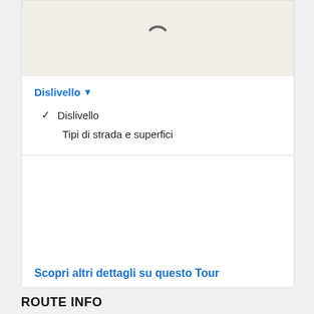[Figure (screenshot): Map area showing a loading spinner icon on a light beige/cream background]
Dislivello ▾
✓  Dislivello
Tipi di strada e superfici
Scopri altri dettagli su questo Tour
ROUTE INFO